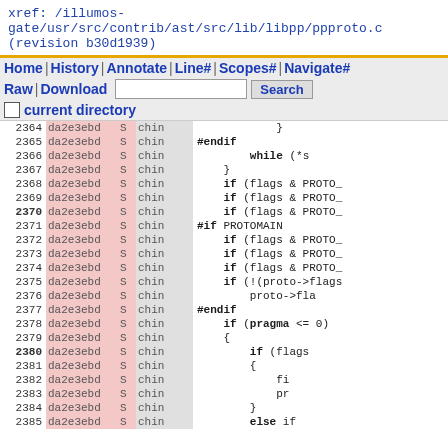xref: /illumos-gate/usr/src/contrib/ast/src/lib/libpp/ppproto.c (revision b30d1939)
Navigation bar: Home | History | Annotate | Line# | Scopes# | Navigate# | Raw | Download | Search | current directory
Code lines 2361-2385 with annotations: da2e3ebd S chin, showing C preprocessor code with #endif, while, if, #if PROTOMAIN, #endif, if (pragma <= 0), if (flags ...) blocks